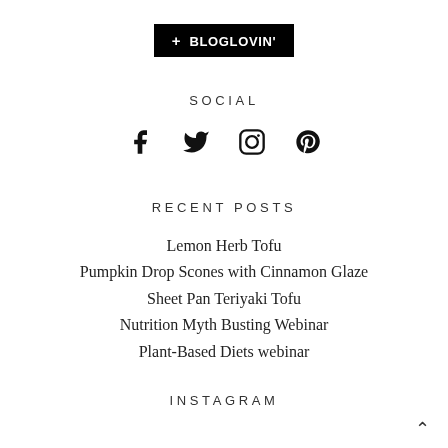[Figure (logo): Bloglovin button: black rectangle with white text '+ BLOGLOVIN'']
SOCIAL
[Figure (infographic): Four social media icons: Facebook, Twitter, Instagram, Pinterest]
RECENT POSTS
Lemon Herb Tofu
Pumpkin Drop Scones with Cinnamon Glaze
Sheet Pan Teriyaki Tofu
Nutrition Myth Busting Webinar
Plant-Based Diets webinar
INSTAGRAM